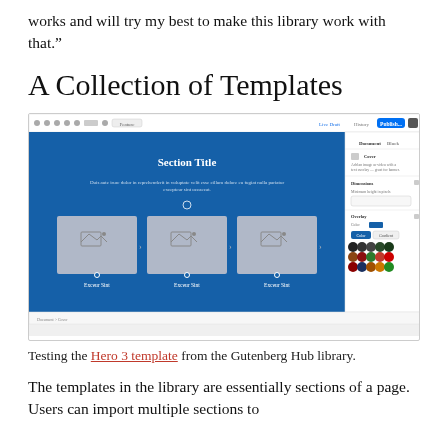works and will try my best to make this library work with that.”
A Collection of Templates
[Figure (screenshot): Screenshot of the WordPress Gutenberg editor showing a Hero 3 template being edited, with a blue section containing 'Section Title', body text, and three image placeholders labeled 'Exceur Sint'. A settings panel is visible on the right with color swatches.]
Testing the Hero 3 template from the Gutenberg Hub library.
The templates in the library are essentially sections of a page. Users can import multiple sections to